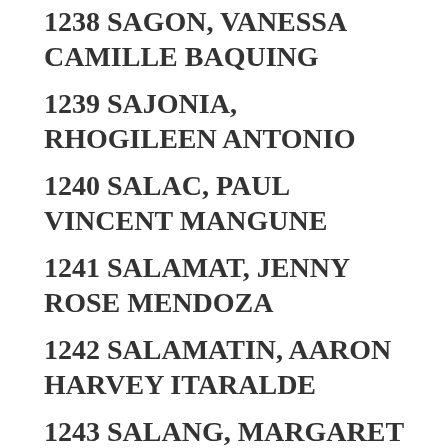1238 SAGON, VANESSA CAMILLE BAQUING
1239 SAJONIA, RHOGILEEN ANTONIO
1240 SALAC, PAUL VINCENT MANGUNE
1241 SALAMAT, JENNY ROSE MENDOZA
1242 SALAMATIN, AARON HARVEY ITARALDE
1243 SALANG, MARGARET ROSE MIRANDILLA
1244 SALARDA, HANNAH GAYLE MOSQUEDA